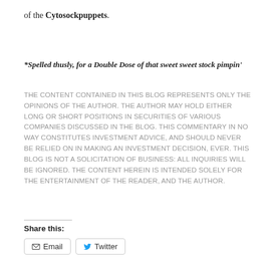of the Cytosockpuppets.
*Spelled thusly, for a Double Dose of that sweet sweet stock pimpin'
THE CONTENT CONTAINED IN THIS BLOG REPRESENTS ONLY THE OPINIONS OF THE AUTHOR. THE AUTHOR MAY HOLD EITHER LONG OR SHORT POSITIONS IN SECURITIES OF VARIOUS COMPANIES DISCUSSED IN THE BLOG. THIS COMMENTARY IN NO WAY CONSTITUTES INVESTMENT ADVICE, AND SHOULD NEVER BE RELIED ON IN MAKING AN INVESTMENT DECISION, EVER. THIS BLOG IS NOT A SOLICITATION OF BUSINESS: ALL INQUIRIES WILL BE IGNORED. THE CONTENT HEREIN IS INTENDED SOLELY FOR THE ENTERTAINMENT OF THE READER, AND THE AUTHOR.
Share this:
Email  Twitter